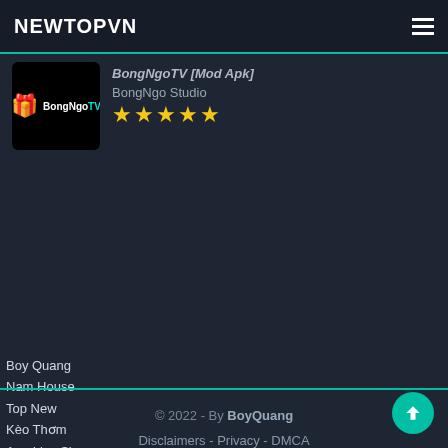NEWTOPVN
BongNgoTV [Mod Apk]
BongNgo Studio
★★★★★
Boy Quang
Nam House
Top New
Kèo Thơm
App Live Show
© 2022 - By BoyQuang · Disclaimers - Privacy - DMCA